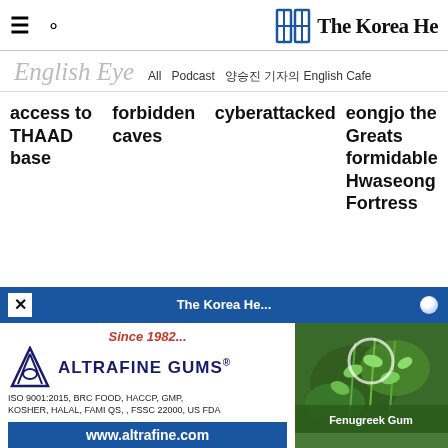The Korea Herald — navigation bar with hamburger menu and search icon
English Eye — All  Podcast  양승진 기자의 English Cafe
access to THAAD base
forbidden caves
cyberattacked
eongjo the Greats formidable Hwaseong Fortress
[Figure (other): Advertisement banner: Altrafine Gums — Since 1982... ISO 9001:2015, BRC FOOD, HACCP, GMP, KOSHER, HALAL, FAMI QS, , FSSC 22000, US FDA — www.altrafine.com — with Fenugreek Gum plant image]